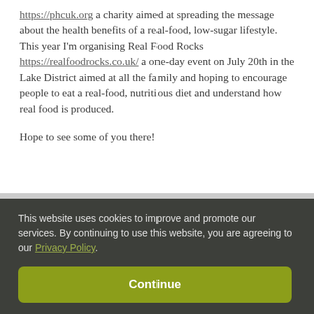https://phcuk.org a charity aimed at spreading the message about the health benefits of a real-food, low-sugar lifestyle. This year I'm organising Real Food Rocks https://realfoodrocks.co.uk/ a one-day event on July 20th in the Lake District aimed at all the family and hoping to encourage people to eat a real-food, nutritious diet and understand how real food is produced.
Hope to see some of you there!
This website uses cookies to improve and promote our services. By continuing to use this website, you are agreeing to our Privacy Policy.